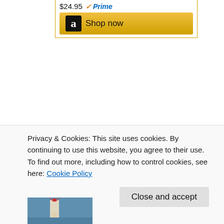[Figure (screenshot): Amazon product widget showing $24.95 price with Prime badge and Shop now button]
[Figure (screenshot): Amazon product widget for 'Best Easy Day Hikes Acadia...' showing book cover, price $12.95 with Prime badge]
Privacy & Cookies: This site uses cookies. By continuing to use this website, you agree to their use.
To find out more, including how to control cookies, see here: Cookie Policy
Close and accept